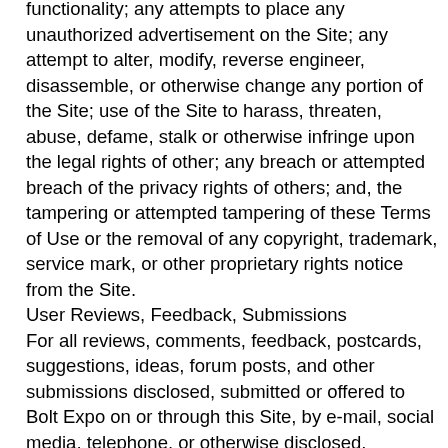functionality; any attempts to place any unauthorized advertisement on the Site; any attempt to alter, modify, reverse engineer, disassemble, or otherwise change any portion of the Site; use of the Site to harass, threaten, abuse, defame, stalk or otherwise infringe upon the legal rights of other; any breach or attempted breach of the privacy rights of others; and, the tampering or attempted tampering of these Terms of Use or the removal of any copyright, trademark, service mark, or other proprietary rights notice from the Site.
User Reviews, Feedback, Submissions
For all reviews, comments, feedback, postcards, suggestions, ideas, forum posts, and other submissions disclosed, submitted or offered to Bolt Expo on or through this Site, by e-mail, social media, telephone, or otherwise disclosed, submitted or offered in connection with your use of this Site (collectively, the “Comments”) you grant Bolt Expo a royalty-free, irrevocable, transferable right and license to use the Comments however Bolt Expo desires, including without limitation, to copy, modify, delete in its entirety, adapt, publish, translate, create derivative works